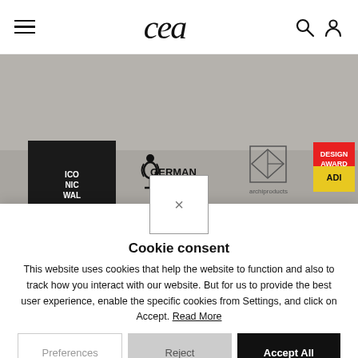CEA website navigation bar with hamburger menu, CEA logo, search and user icons
[Figure (photo): Awards logos banner: iCo Nic (dark square logo), German Design Award Winner (trophy icon), archiproducts logo, Design ADI (colorful badge). Background is grey/beige wall.]
Cookie consent
This website uses cookies that help the website to function and also to track how you interact with our website. But for us to provide the best user experience, enable the specific cookies from Settings, and click on Accept. Read More